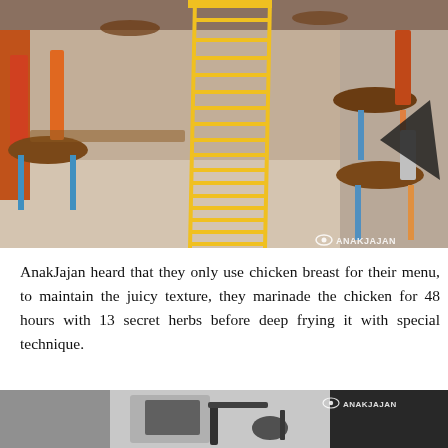[Figure (photo): Interior of a restaurant showing colorful chairs with wooden seats — red, orange, blue, and yellow — arranged around tables. A distinctive yellow metal grid/ladder-style partition is visible in the center. The floor is light-colored concrete. An ANAKJAJAN watermark appears in the bottom-right corner.]
AnakJajan heard that they only use chicken breast for their menu, to maintain the juicy texture, they marinade the chicken for 48 hours with 13 secret herbs before deep frying it with special technique.
[Figure (photo): Black and white photo showing cooking equipment, likely a deep fryer or kitchen utensil. An ANAKJAJAN watermark appears in the top-right corner.]